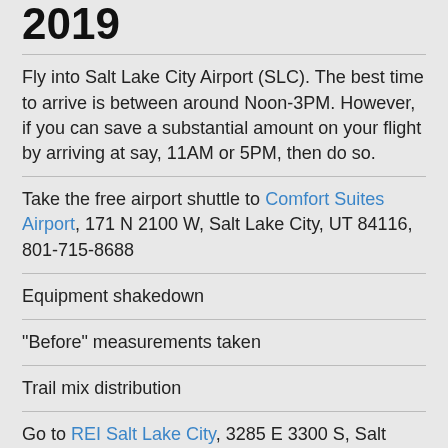2019
Fly into Salt Lake City Airport (SLC). The best time to arrive is between around Noon-3PM. However, if you can save a substantial amount on your flight by arriving at say, 11AM or 5PM, then do so.
Take the free airport shuttle to Comfort Suites Airport, 171 N 2100 W, Salt Lake City, UT 84116, 801-715-8688
Equipment shakedown
"Before" measurements taken
Trail mix distribution
Go to REI Salt Lake City, 3285 E 3300 S, Salt Lake City, UT 84109, (801) 486-2100 for last minute equipment
Go out for group dinner (Dinner not included in trip cost)